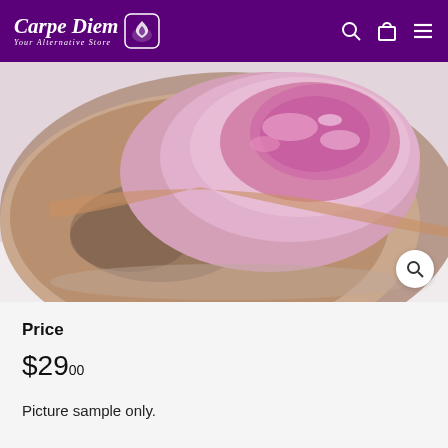Carpe Diem Your Alternative Store
[Figure (photo): Close-up photo of a pink/rose mineral crystal or geode specimen with rough brownish exterior and sparkling pink crystalline interior, on a white background.]
Price
$29.00
Picture sample only.